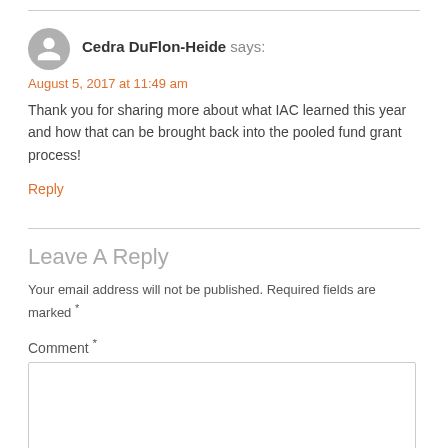Cedra DuFlon-Heide says:
August 5, 2017 at 11:49 am
Thank you for sharing more about what IAC learned this year and how that can be brought back into the pooled fund grant process!
Reply
Leave A Reply
Your email address will not be published. Required fields are marked *
Comment *